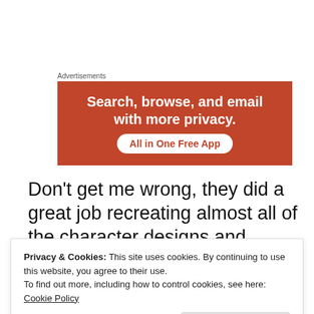Advertisements
[Figure (other): Advertisement banner with orange background. Text: 'Search, browse, and email with more privacy. All in One Free App']
Don’t get me wrong, they did a great job recreating almost all of the character designs and environments, even if Mario
Privacy & Cookies: This site uses cookies. By continuing to use this website, you agree to their use. To find out more, including how to control cookies, see here: Cookie Policy
the bearded crew member from the